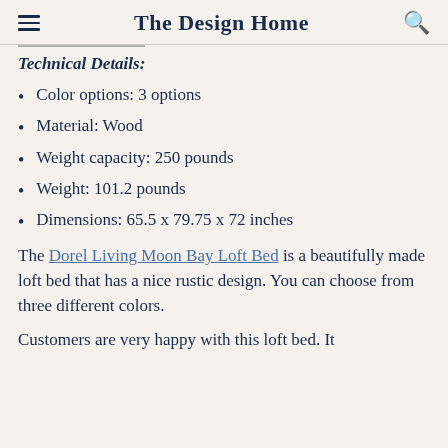The Design Home
Technical Details:
Color options: 3 options
Material: Wood
Weight capacity: 250 pounds
Weight: 101.2 pounds
Dimensions: 65.5 x 79.75 x 72 inches
The Dorel Living Moon Bay Loft Bed is a beautifully made loft bed that has a nice rustic design. You can choose from three different colors.
Customers are very happy with this loft bed. It